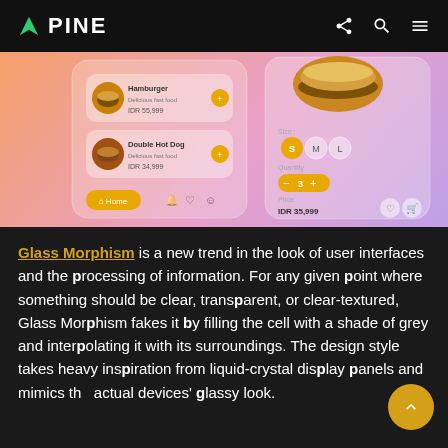PINE
[Figure (screenshot): App UI mockup showing a food ordering interface with glassmorphism design. Left panel shows a burger menu with items 'Hamburger' and 'Double Hot Dog' with prices. Right panel shows a product detail with size options S, M, L, quantity selector showing 3, and price IDR 35,999.]
Glass Morphism is a new trend in the look of user interfaces and the processing of information. For any given point where something should be clear, transparent, or clear-textured, Glass Morphism fakes it by filling the cell with a shade of grey and interpolating it with its surroundings. The design style takes heavy inspiration from liquid-crystal display panels and mimics the actual devices' glassy look.